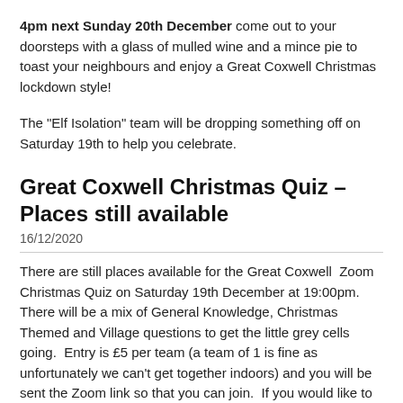4pm next Sunday 20th December come out to your doorsteps with a glass of mulled wine and a mince pie to toast your neighbours and enjoy a Great Coxwell Christmas lockdown style!
The "Elf Isolation" team will be dropping something off on Saturday 19th to help you celebrate.
Great Coxwell Christmas Quiz – Places still available
16/12/2020
There are still places available for the Great Coxwell  Zoom Christmas Quiz on Saturday 19th December at 19:00pm.  There will be a mix of General Knowledge, Christmas Themed and Village questions to get the little grey cells going.  Entry is £5 per team (a team of 1 is fine as unfortunately we can't get together indoors) and you will be sent the Zoom link so that you can join.  If you would like to take part please either e-mail Pam Holley at pamela.ruth.holley@gmail.com or drop a